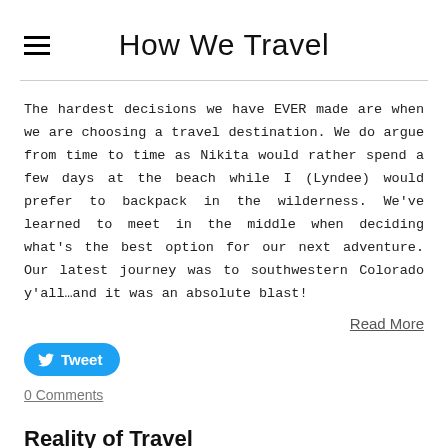How We Travel
The hardest decisions we have EVER made are when we are choosing a travel destination. We do argue from time to time as Nikita would rather spend a few days at the beach while I (Lyndee) would prefer to backpack in the wilderness. We've learned to meet in the middle when deciding what's the best option for our next adventure. Our latest journey was to southwestern Colorado y'all…and it was an absolute blast!
Read More
Tweet
0 Comments
Reality of Travel